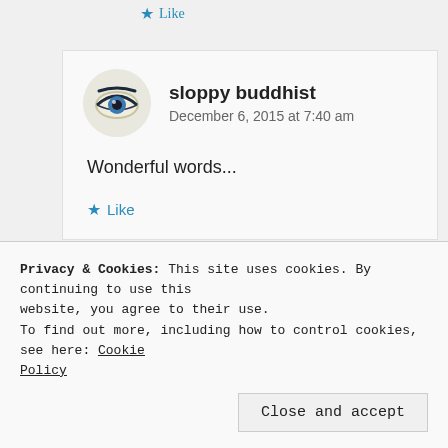Like
sloppy buddhist
December 6, 2015 at 7:40 am
Wonderful words...
Like
Privacy & Cookies: This site uses cookies. By continuing to use this website, you agree to their use.
To find out more, including how to control cookies, see here: Cookie Policy
Close and accept
here.